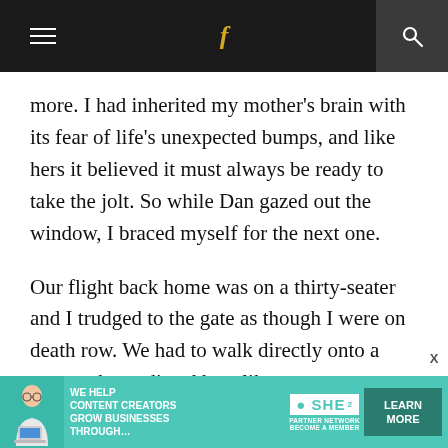≡  f  🔍
more.  I had inherited my mother's brain with its fear of life's unexpected bumps, and like hers it believed it must always be ready to take the jolt.  So while Dan gazed out the window, I braced myself for the next one.
Our flight back home was on a thirty-seater and I trudged to the gate as though I were on death row.  We had to walk directly onto a tarmac that radiated heat like an open oven.  As I followed everyone up the steep metal stairs, I
[Figure (advertisement): SHE Media Partner Network advertisement with text: WE HELP CONTENT CREATORS GROW BUSINESSES THROUGH... LEARN MORE]